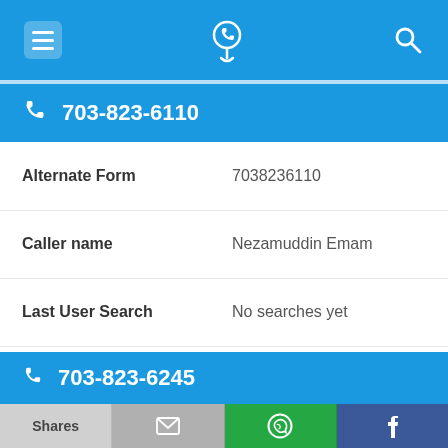Navigation bar with menu, phone-location, and search icons
703-823-6110
| Field | Value |
| --- | --- |
| Alternate Form | 7038236110 |
| Caller name | Nezamuddin Emam |
| Last User Search | No searches yet |
| Comments | 0 |
703-823-6245
Shares | (email) | (WhatsApp) | (Facebook)